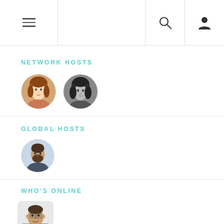Navigation bar with menu, search, and user icons
NETWORK HOSTS
[Figure (photo): Two circular avatar photos of network hosts - a woman with auburn hair and a woman with dark hair]
GLOBAL HOSTS
[Figure (photo): One circular avatar photo of a man with beard]
WHO'S ONLINE
[Figure (photo): One circular avatar photo of a man in a suit with red tie]